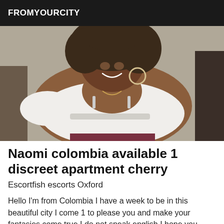FROMYOURCITY
[Figure (photo): Photo of a smiling woman with curly hair wearing a white off-shoulder top with rhinestone detail, posed indoors.]
Naomi colombia available 1 discreet apartment cherry
Escortfish escorts Oxford
Hello I'm from Colombia I have a week to be in this beautiful city I come 1 to please you and make your fantasies come true I do not speak english I hope you